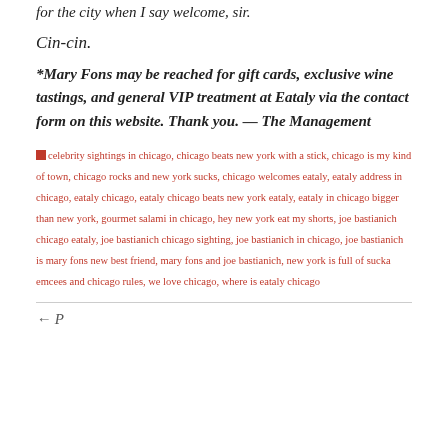for the city when I say welcome, sir.
Cin-cin.
*Mary Fons may be reached for gift cards, exclusive wine tastings, and general VIP treatment at Eataly via the contact form on this website. Thank you. — The Management
celebrity sightings in chicago, chicago beats new york with a stick, chicago is my kind of town, chicago rocks and new york sucks, chicago welcomes eataly, eataly address in chicago, eataly chicago, eataly chicago beats new york eataly, eataly in chicago bigger than new york, gourmet salami in chicago, hey new york eat my shorts, joe bastianich chicago eataly, joe bastianich chicago sighting, joe bastianich in chicago, joe bastianich is mary fons new best friend, mary fons and joe bastianich, new york is full of sucka emcees and chicago rules, we love chicago, where is eataly chicago
← P